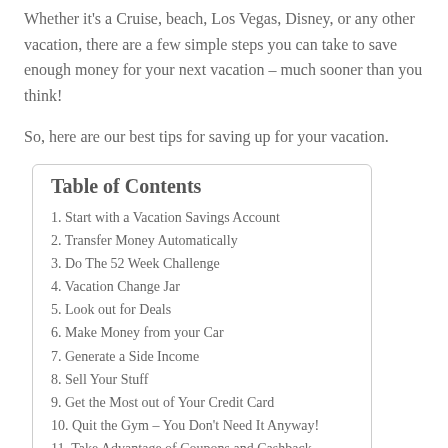Whether it's a Cruise, beach, Los Vegas, Disney, or any other vacation, there are a few simple steps you can take to save enough money for your next vacation – much sooner than you think!
So, here are our best tips for saving up for your vacation.
Table of Contents
1. Start with a Vacation Savings Account
2. Transfer Money Automatically
3. Do The 52 Week Challenge
4. Vacation Change Jar
5. Look out for Deals
6. Make Money from your Car
7. Generate a Side Income
8. Sell Your Stuff
9. Get the Most out of Your Credit Card
10. Quit the Gym – You Don't Need It Anyway!
11. Take Advantage of Coupons and Cashback